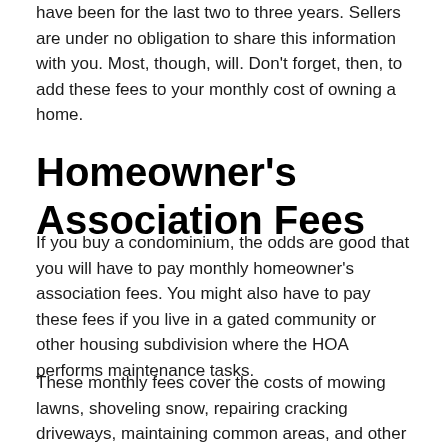have been for the last two to three years. Sellers are under no obligation to share this information with you. Most, though, will. Don't forget, then, to add these fees to your monthly cost of owning a home.
Homeowner's Association Fees
If you buy a condominium, the odds are good that you will have to pay monthly homeowner's association fees. You might also have to pay these fees if you live in a gated community or other housing subdivision where the HOA performs maintenance tasks.
These monthly fees cover the costs of mowing lawns, shoveling snow, repairing cracking driveways, maintaining common areas, and other maintenance issues. Again, these expenses can be significant. Fees can range from